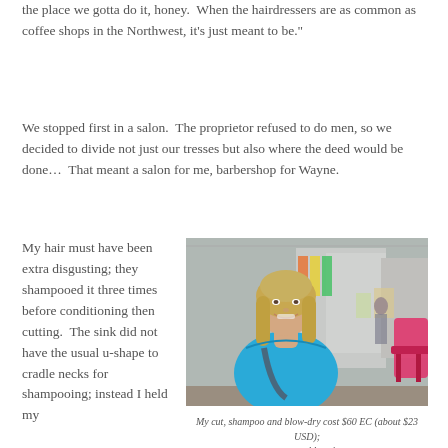the place we gotta do it, honey.  When the hairdressers are as common as coffee shops in the Northwest, it's just meant to be."
We stopped first in a salon.  The proprietor refused to do men, so we decided to divide not just our tresses but also where the deed would be done…  That meant a salon for me, barbershop for Wayne.
My hair must have been extra disgusting; they shampooed it three times before conditioning then cutting.  The sink did not have the usual u-shape to cradle necks for shampooing; instead I held my
[Figure (photo): A woman with shoulder-length blonde hair wearing a bright blue tank top, smiling at the camera, standing in what appears to be a salon or shop interior. Behind her are colorful items and a pink chair.]
My cut, shampoo and blow-dry cost $60 EC (about $23 USD); a respectable price.